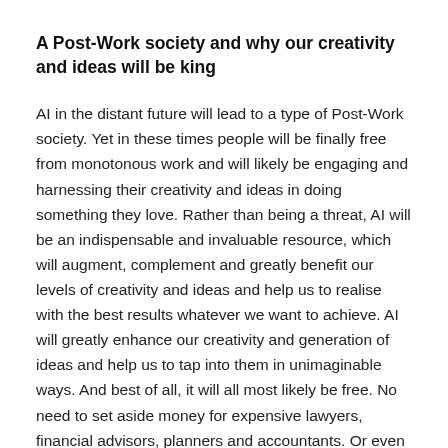A Post-Work society and why our creativity and ideas will be king
AI in the distant future will lead to a type of Post-Work society. Yet in these times people will be finally free from monotonous work and will likely be engaging and harnessing their creativity and ideas in doing something they love. Rather than being a threat, AI will be an indispensable and invaluable resource, which will augment, complement and greatly benefit our levels of creativity and ideas and help us to realise with the best results whatever we want to achieve. AI will greatly enhance our creativity and generation of ideas and help us to tap into them in unimaginable ways. And best of all, it will all most likely be free. No need to set aside money for expensive lawyers, financial advisors, planners and accountants. Or even software developers and digital